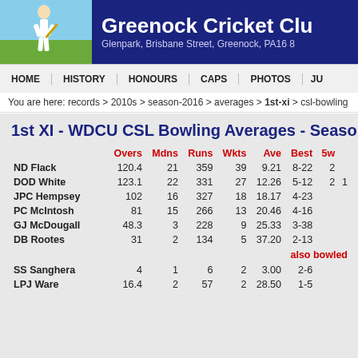Greenock Cricket Club - Glenpark, Brisbane Street, Greenock, PA16 8
HOME | HISTORY | HONOURS | CAPS | PHOTOS | JU
You are here: records > 2010s > season-2016 > averages > 1st-xi > csl-bowling
1st XI - WDCU CSL Bowling Averages - Season 2016
|  | Overs | Mdns | Runs | Wkts | Ave | Best | 5w |  |
| --- | --- | --- | --- | --- | --- | --- | --- | --- |
| ND Flack | 120.4 | 21 | 359 | 39 | 9.21 | 8-22 | 2 |  |
| DOD White | 123.1 | 22 | 331 | 27 | 12.26 | 5-12 | 2 | 1 |
| JPC Hempsey | 102 | 16 | 327 | 18 | 18.17 | 4-23 |  |  |
| PC McIntosh | 81 | 15 | 266 | 13 | 20.46 | 4-16 |  |  |
| GJ McDougall | 48.3 | 3 | 228 | 9 | 25.33 | 3-38 |  |  |
| DB Rootes | 31 | 2 | 134 | 5 | 37.20 | 2-13 |  |  |
| also bowled |  |  |  |  |  |  |  |  |
| SS Sanghera | 4 | 1 | 6 | 2 | 3.00 | 2-6 |  |  |
| LPJ Ware | 16.4 | 2 | 57 | 2 | 28.50 | 1-5 |  |  |